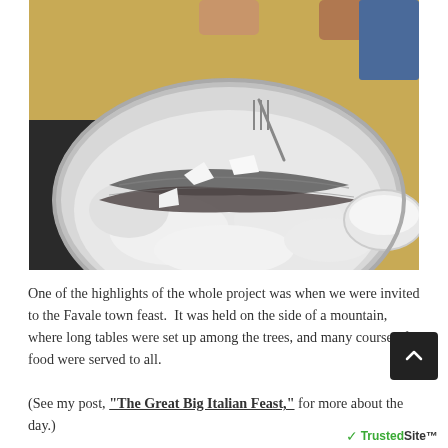[Figure (photo): A large round metal tray with fish baked in a salt crust, being broken open with a fork. The salt crust is cracked and the fish is visible underneath. The scene is on a restaurant table with a yellow surface visible, and other diners in the background.]
One of the highlights of the whole project was when we were invited to the Favale town feast. It was held on the side of a mountain, where long tables were set up among the trees, and many course of food were served to all.
(See my post, "The Great Big Italian Feast," for more about the day.)